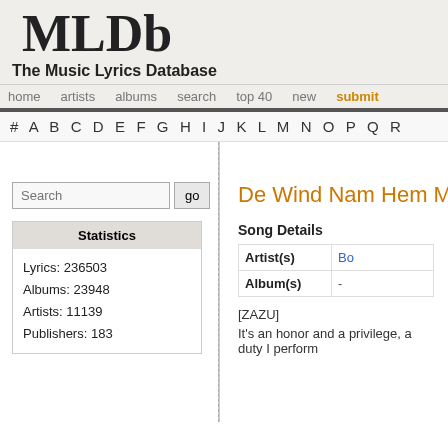MLDb The Music Lyrics Database
home  artists  albums  search  top 40  new  submit
# A B C D E F G H I J K L M N O P Q R
Search [go]
Statistics
Lyrics: 236503
Albums: 23948
Artists: 11139
Publishers: 183
De Wind Nam Hem Mee lyrics
Song Details
|  |  |
| --- | --- |
| Artist(s) | Bo |
| Album(s) | - |
[ZAZU]
It's an honor and a privilege, a duty I perform